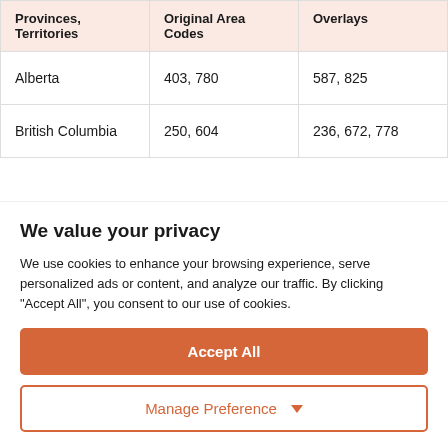| Provinces, Territories | Original Area Codes | Overlays |
| --- | --- | --- |
| Alberta | 403, 780 | 587, 825 |
| British Columbia | 250, 604 | 236, 672, 778 |
We value your privacy
We use cookies to enhance your browsing experience, serve personalized ads or content, and analyze our traffic. By clicking "Accept All", you consent to our use of cookies.